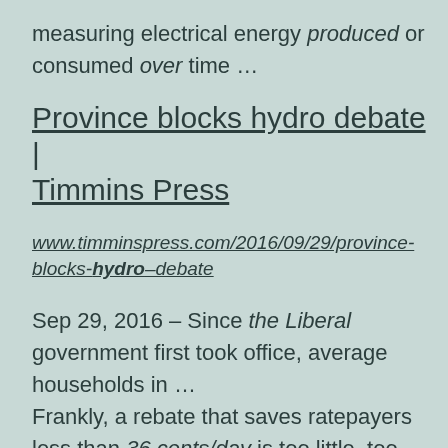measuring electrical energy produced or consumed over time …
Province blocks hydro debate | Timmins Press
www.timminspress.com/2016/09/29/province-blocks-hydro–debate
Sep 29, 2016 – Since the Liberal government first took office, average households in … Frankly, a rebate that saves ratepayers less than 36 cents/day is too little, too late. … After spending months denying a hydro crisis even